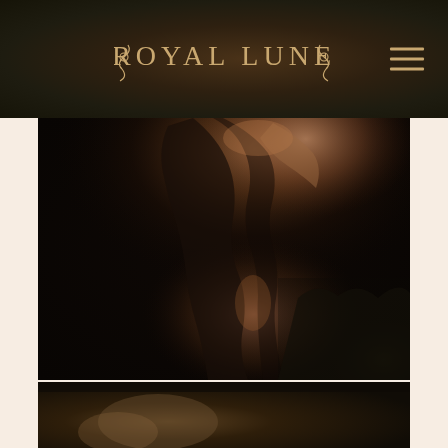ROYAL LUNE
[Figure (photo): Dark artistic photograph of a woman in a dark dress bending/arching her body, lit dramatically from one side against a very dark background with foliage]
[Figure (photo): Partial view of a second dark artistic photograph, partially cropped at bottom of page]